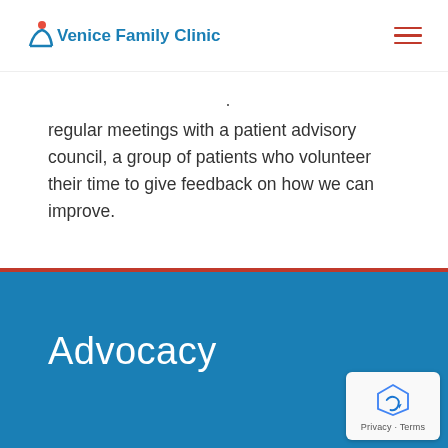Venice Family Clinic
regular meetings with a patient advisory council, a group of patients who volunteer their time to give feedback on how we can improve.
Advocacy